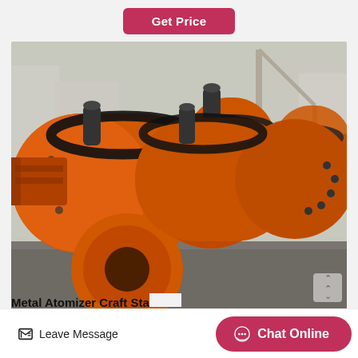[Figure (screenshot): Get Price button — pink/crimson rounded rectangle button on grey background]
[Figure (photo): Industrial ball mills painted orange, multiple large cylindrical grinding mills with gear rings, lined up in an outdoor factory yard. Heavy industrial mining equipment.]
Metal Atomizer Craft Sta…
[Figure (screenshot): Bottom navigation bar with Leave Message button on left and Chat Online button (pink) on right]